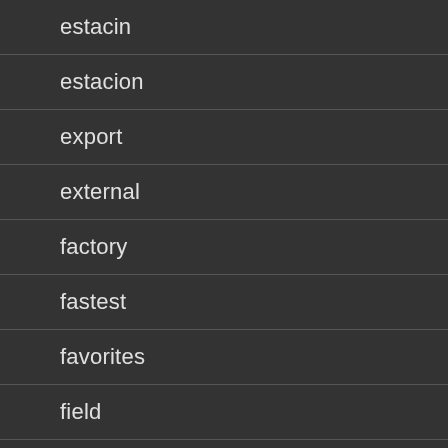estacin
estacion
export
external
factory
fastest
favorites
field
first